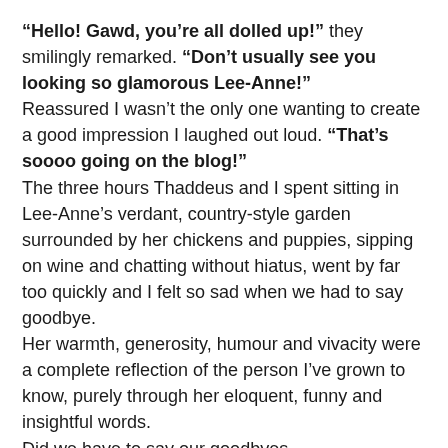“Hello! Gawd, you’re all dolled up!” they smilingly remarked. “Don’t usually see you looking so glamorous Lee-Anne!”
Reassured I wasn’t the only one wanting to create a good impression I laughed out loud. “That’s soooo going on the blog!”
The three hours Thaddeus and I spent sitting in Lee-Anne’s verdant, country-style garden surrounded by her chickens and puppies, sipping on wine and chatting without hiatus, went by far too quickly and I felt so sad when we had to say goodbye.
Her warmth, generosity, humour and vivacity were a complete reflection of the person I’ve grown to know, purely through her eloquent, funny and insightful words.
Did we have to say our goodbyes...